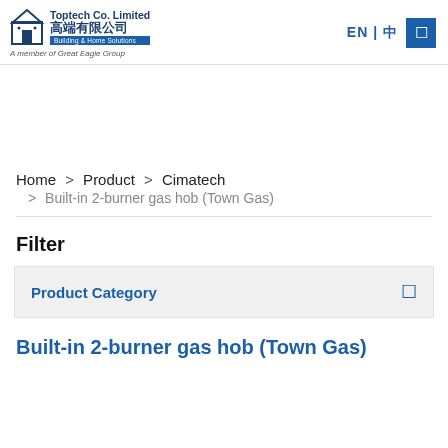Toptech Co. Limited 高端有限公司 Building & Home Solutions A member of Great Eagle Group | EN | 中
Home > Product > Cimatech > Built-in 2-burner gas hob (Town Gas)
Filter
Product Category
Built-in 2-burner gas hob (Town Gas)